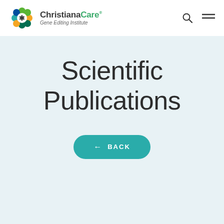ChristianaCare Gene Editing Institute
Scientific Publications
← BACK